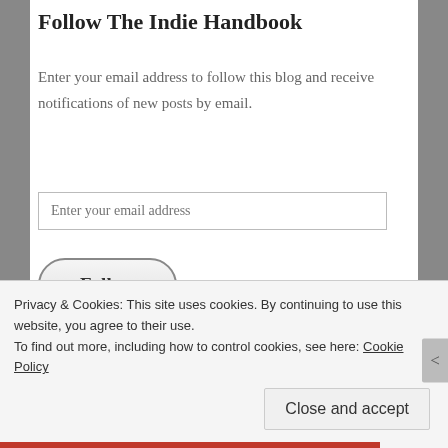Follow The Indie Handbook
Enter your email address to follow this blog and receive notifications of new posts by email.
Join 1,770 other followers
Privacy & Cookies: This site uses cookies. By continuing to use this website, you agree to their use. To find out more, including how to control cookies, see here: Cookie Policy